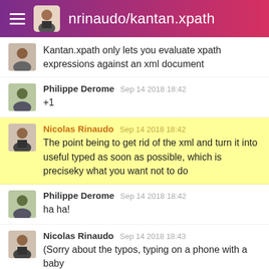nrinaudo/kantan.xpath
Kantan.xpath only lets you evaluate xpath expressions against an xml document
Philippe Derome  Sep 14 2018 18:42
+1
Nicolas Rinaudo  Sep 14 2018 18:42
The point being to get rid of the xml and turn it into useful typed as soon as possible, which is preciseky what you want not to do
Philippe Derome  Sep 14 2018 18:42
ha ha!
Nicolas Rinaudo  Sep 14 2018 18:43
(Sorry about the typos, typing on a phone with a baby
SIGN IN TO START TALKING